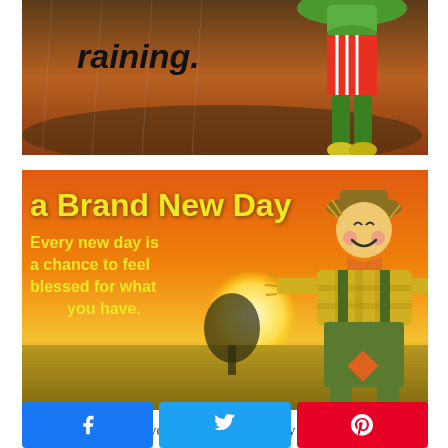[Figure (illustration): Top banner image showing a rainy scene with the word 'raining.' in black text and a cartoon scarecrow character on the right side with green sombrero and yellow/green outfit]
[Figure (illustration): Motivational image with orange sunset background, wheat field, cartoon scarecrow character on right. Yellow text reads 'a Brand New Day' and 'Every new day is a chance to feel blessed for what you have.']
I am so thankful for you...my readers, family and
[Figure (other): Three social sharing buttons: Facebook (blue), Twitter (blue), Pinterest (red)]